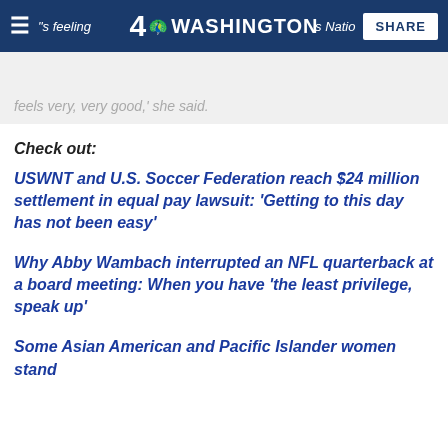feeling ... Nation | 4 NBC WASHINGTON | SHARE
feels very, very good,' she said.
Check out:
USWNT and U.S. Soccer Federation reach $24 million settlement in equal pay lawsuit: 'Getting to this day has not been easy'
Why Abby Wambach interrupted an NFL quarterback at a board meeting: When you have 'the least privilege, speak up'
Some Asian American and Pacific Islander women stand